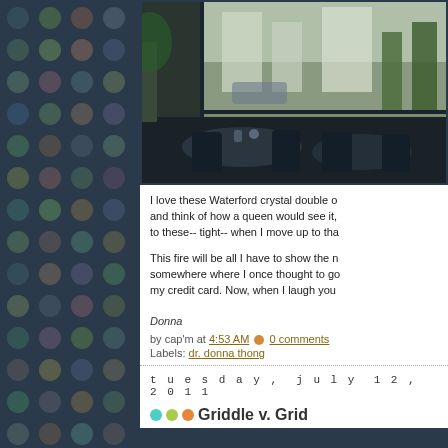[Figure (photo): Background with dark blue dotted grid pattern covering left portion of page]
[Figure (photo): Interior cafe/restaurant photo showing dark tables and chairs near a window with view outside]
I love these Waterford crystal double o and think of how a queen would see it, to these-- tight-- when I move up to tha
This fire will be all I have to show the n somewhere where I once thought to go my credit card. Now, when I laugh you
Donna
by cap'm at 4:53 AM  0 comments
Labels: dr. donna thong
tuesday, july 12, 2011
Griddle v. Grid